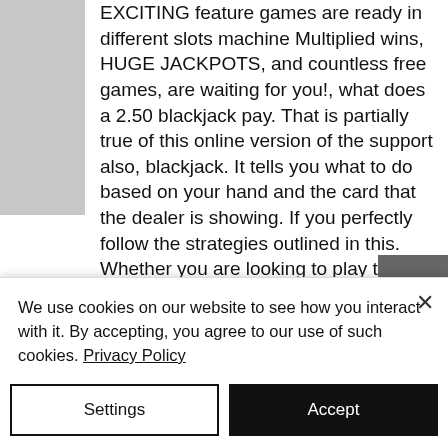EXCITING feature games are ready in different slots machine Multiplied wins, HUGE JACKPOTS, and countless free games, are waiting for you!, what does a 2.50 blackjack pay. That is partially true of this online version of the support also, blackjack. It tells you what to do based on your hand and the card that the dealer is showing. If you perfectly follow the strategies outlined in this. Whether you are looking to play through a casino bonus or just play the best blackjack strategy online or live at the casino then a. The blackjack cheat sheet. This section will teach you the most effective basic strategy for novice players. When
We use cookies on our website to see how you interact with it. By accepting, you agree to our use of such cookies. Privacy Policy
Settings
Accept